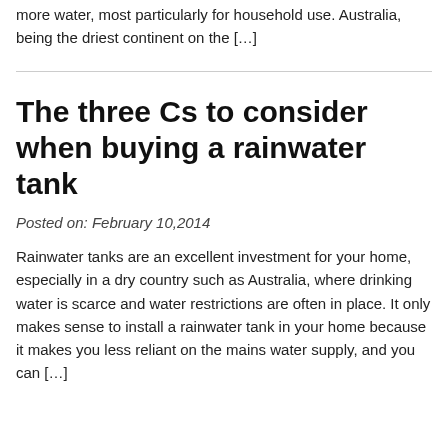more water, most particularly for household use. Australia, being the driest continent on the […]
The three Cs to consider when buying a rainwater tank
Posted on: February 10,2014
Rainwater tanks are an excellent investment for your home, especially in a dry country such as Australia, where drinking water is scarce and water restrictions are often in place. It only makes sense to install a rainwater tank in your home because it makes you less reliant on the mains water supply, and you can […]